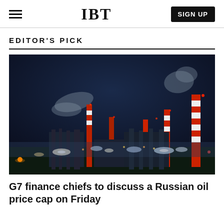IBT | SIGN UP
EDITOR'S PICK
[Figure (photo): Night photograph of an industrial oil refinery or petrochemical plant with multiple smokestacks, red-and-white striped chimneys emitting smoke, bright lights illuminating the facility against a dark blue sky.]
G7 finance chiefs to discuss a Russian oil price cap on Friday